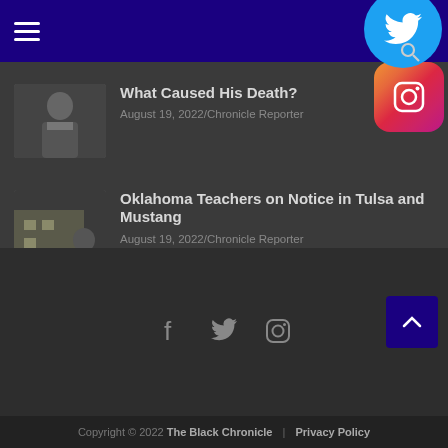Navigation bar with hamburger menu, Twitter and Instagram icons
What Caused His Death? — August 19, 2022/Chronicle Reporter
Oklahoma Teachers on Notice in Tulsa and Mustang — August 19, 2022/Chronicle Reporter
Eastpoint Developers Planning a New Hotel — August 18, 2022/Chronicle Reporter
Copyright © 2022 The Black Chronicle | Privacy Policy